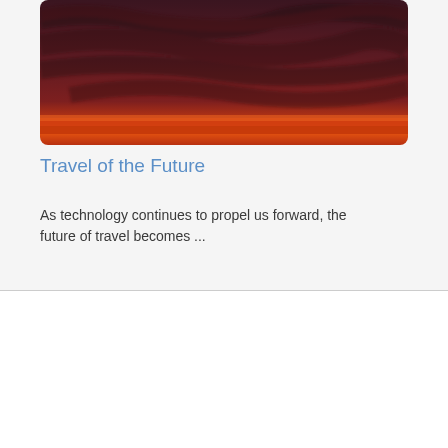[Figure (photo): A dramatic sunset sky with deep red and dark purple clouds and a vivid orange-red horizon line, partially visible (top portion of image card).]
Travel of the Future
As technology continues to propel us forward, the future of travel becomes ...
Our website uses cookies. We use these cookies to improve your website experience and provide more personalized content. To learn more, see our Privacy Policy.